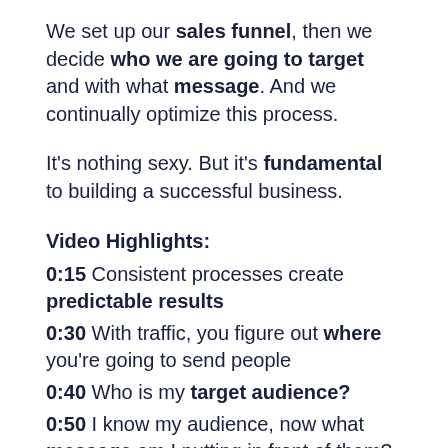We set up our sales funnel, then we decide who we are going to target and with what message. And we continually optimize this process.
It's nothing sexy. But it's fundamental to building a successful business.
Video Highlights:
0:15 Consistent processes create predictable results
0:30 With traffic, you figure out where you're going to send people
0:40 Who is my target audience?
0:50 I know my audience, now what message am I putting in front of them?